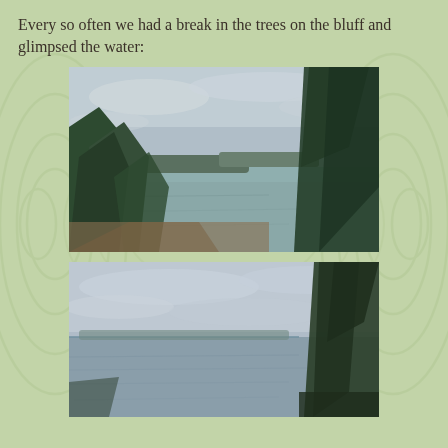Every so often we had a break in the trees on the bluff and glimpsed the water:
[Figure (photo): View through trees on a bluff showing a calm bay or sound with a distant forested headland under an overcast sky, taken from above looking down through dark green evergreen trees and dry brush.]
[Figure (photo): Second view through trees on a bluff showing a wide calm water body under a cloudy sky, with evergreen trees visible on the right side of the frame.]